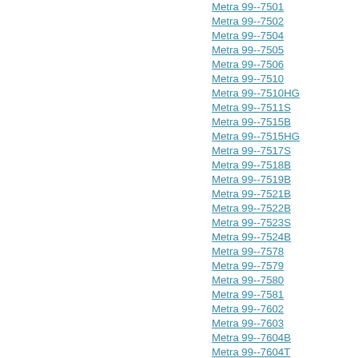Metra 99--7501
Metra 99--7502
Metra 99--7504
Metra 99--7505
Metra 99--7506
Metra 99--7510
Metra 99--7510HG
Metra 99--7511S
Metra 99--7515B
Metra 99--7515HG
Metra 99--7517S
Metra 99--7518B
Metra 99--7519B
Metra 99--7521B
Metra 99--7522B
Metra 99--7523S
Metra 99--7524B
Metra 99--7578
Metra 99--7579
Metra 99--7580
Metra 99--7581
Metra 99--7602
Metra 99--7603
Metra 99--7604B
Metra 99--7604T
Metra 99--7605
Metra 99--7605A
Metra 99--7606
Metra 99--7607B
Metra 99--7608